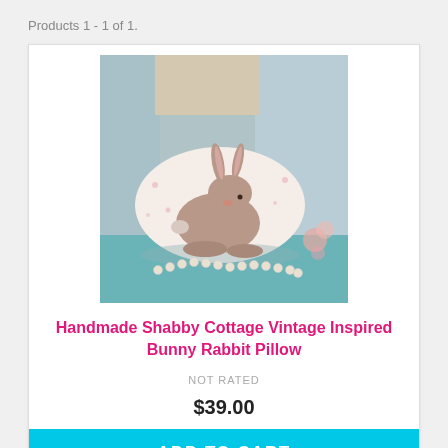Products 1 - 1 of 1.
[Figure (photo): Photo of a handmade decorative pillow with a bunny rabbit illustration, placed on a teal surface with pearl necklace, with floral curtains in background.]
Handmade Shabby Cottage Vintage Inspired Bunny Rabbit Pillow
NOT RATED
$39.00
ADD TO CART